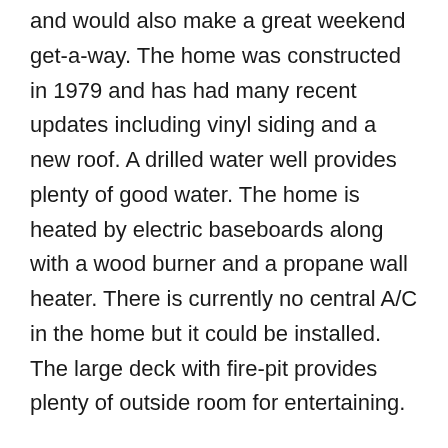and would also make a great weekend get-a-way. The home was constructed in 1979 and has had many recent updates including vinyl siding and a new roof. A drilled water well provides plenty of good water. The home is heated by electric baseboards along with a wood burner and a propane wall heater. There is currently no central A/C in the home but it could be installed. The large deck with fire-pit provides plenty of outside room for entertaining.
Additional property features include:
- Mature timber
- Hiking/ATV trails
- Several outbuildings on property